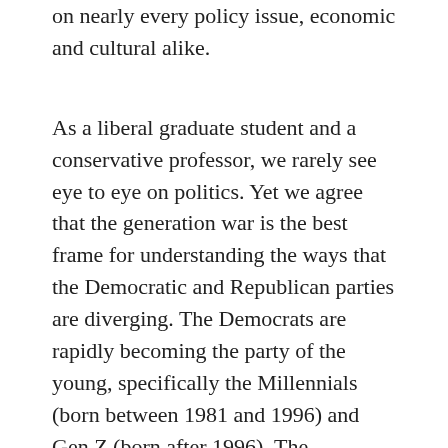on nearly every policy issue, economic and cultural alike.
As a liberal graduate student and a conservative professor, we rarely see eye to eye on politics. Yet we agree that the generation war is the best frame for understanding the ways that the Democratic and Republican parties are diverging. The Democrats are rapidly becoming the party of the young, specifically the Millennials (born between 1981 and 1996) and Gen Z (born after 1996). The Republicans are leaning ever more heavily on retirees, particularly the Silent Generation (born